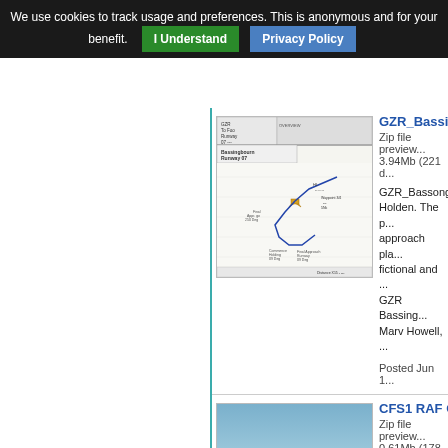We use cookies to track usage and preferences. This is anonymous and for your benefit. I Understand Privacy Policy
[Figure (schematic): Approach plate / chart thumbnail for GZR Bassingbourn Runway 07 showing flight path diagram]
GZR_Bassingh...
Zip file preview... 3.94Mb (221 d...
GZR_Bassong... Holden. The p... approach pla... fictional and ... GZR Bassing... Marv Howell, ...
Posted Jun 1...
[Figure (photo): Screenshot of RAF aerodrome/airfield with runway visible from air, green grass fields, RAF logo visible]
CFS1 RAF Ch...
Zip file preview... 0.61Mb (178 d...
CFS1 RAF C... bomber runwa... aircraft whic... Headquarters... RAF are welc...
Posted Jun 1...